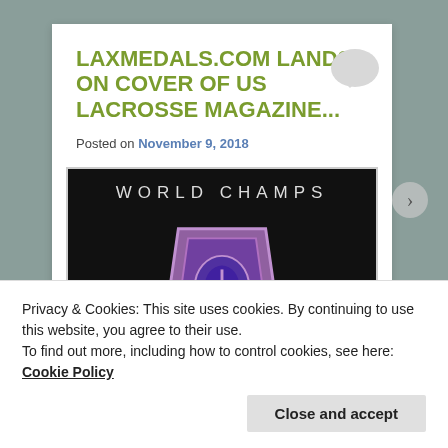LAXMEDALS.COM LANDS ON COVER OF US LACROSSE MAGAZINE...
Posted on November 9, 2018
[Figure (photo): US Lacrosse magazine cover showing 'WORLD CHAMPS' text and 'USLacrosse' logo with a person holding a trophy shield]
Privacy & Cookies: This site uses cookies. By continuing to use this website, you agree to their use.
To find out more, including how to control cookies, see here: Cookie Policy